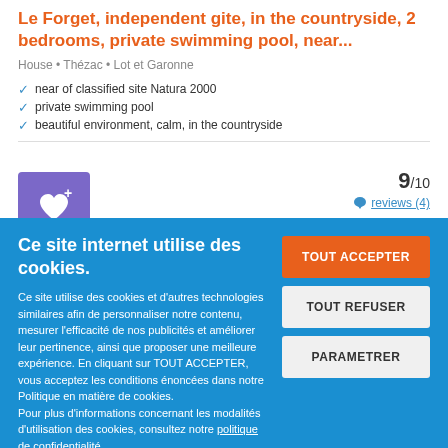Le Forget, independent gite, in the countryside, 2 bedrooms, private swimming pool, near...
House • Thézac • Lot et Garonne
near of classified site Natura 2000
private swimming pool
beautiful environment, calm, in the countryside
9/10
reviews (4)
Ce site internet utilise des cookies.
Ce site utilise des cookies et d'autres technologies similaires afin de personnaliser notre contenu, mesurer l'efficacité de nos publicités et améliorer leur pertinence, ainsi que proposer une meilleure expérience. En cliquant sur TOUT ACCEPTER, vous acceptez les conditions énoncées dans notre Politique en matière de cookies.
Pour plus d'informations concernant les modalités d'utilisation des cookies, consultez notre politique de confidentialité.
Pour modifier vos préférences, vous devez mettre paramétrer vos préférences de cookies.